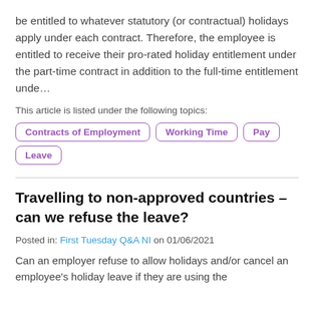be entitled to whatever statutory (or contractual) holidays apply under each contract. Therefore, the employee is entitled to receive their pro-rated holiday entitlement under the part-time contract in addition to the full-time entitlement unde…
This article is listed under the following topics:
Contracts of Employment
Working Time
Pay
Leave
Travelling to non-approved countries – can we refuse the leave?
Posted in: First Tuesday Q&A NI on 01/06/2021
Can an employer refuse to allow holidays and/or cancel an employee's holiday leave if they are using the